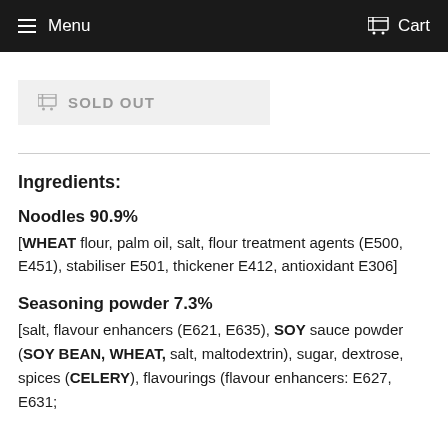Menu   Cart
SOLD OUT
Ingredients:
Noodles 90.9%
[WHEAT flour, palm oil, salt, flour treatment agents (E500, E451), stabiliser E501, thickener E412, antioxidant E306]
Seasoning powder 7.3%
[salt, flavour enhancers (E621, E635), SOY sauce powder (SOY BEAN, WHEAT, salt, maltodextrin), sugar, dextrose, spices (CELERY), flavourings (flavour enhancers: E627, E631;